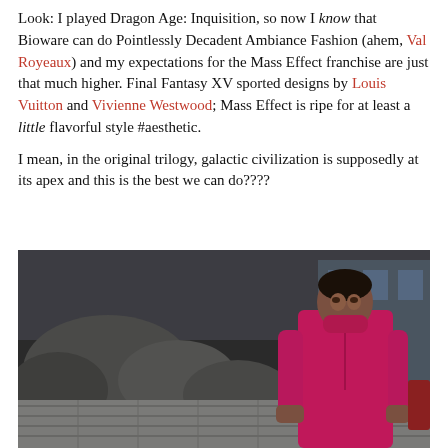Look: I played Dragon Age: Inquisition, so now I know that Bioware can do Pointlessly Decadent Ambiance Fashion (ahem, Val Royeaux) and my expectations for the Mass Effect franchise are just that much higher. Final Fantasy XV sported designs by Louis Vuitton and Vivienne Westwood; Mass Effect is ripe for at least a little flavorful style #aesthetic.

I mean, in the original trilogy, galactic civilization is supposedly at its apex and this is the best we can do????
[Figure (screenshot): Screenshot from a video game showing a character in a magenta/pink zip-up jacket standing in a futuristic outdoor area with large rocks and tiled flooring in the background.]